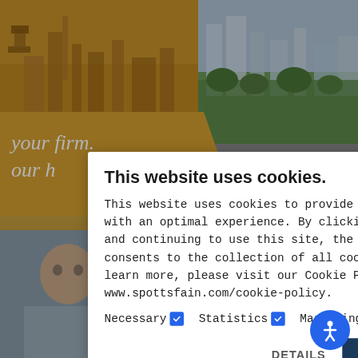[Figure (screenshot): Website background showing city skylines with golden/warm toned left panel and blue-green right panel, gold diagonal band with text 'your firm. our h...' visible behind cookie consent dialog]
This website uses cookies.
This website uses cookies to provide the user with an optimal experience. By clicking “OK” and continuing to use this site, the user consents to the collection of all cookies. To learn more, please visit our Cookie Policy: www.spottsfain.com/cookie-policy.
Necessary ☑ Statistics ☑ Marketing ☑
DETAILS   OK